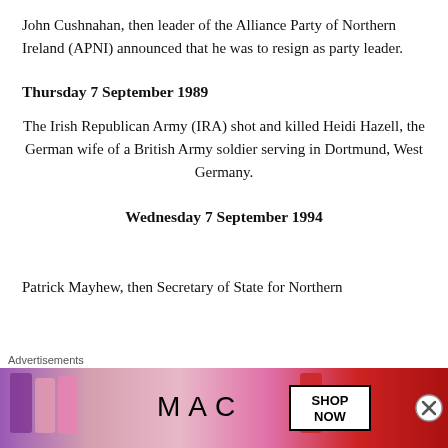John Cushnahan, then leader of the Alliance Party of Northern Ireland (APNI) announced that he was to resign as party leader.
Thursday 7 September 1989
The Irish Republican Army (IRA) shot and killed Heidi Hazell, the German wife of a British Army soldier serving in Dortmund, West Germany.
Wednesday 7 September 1994
Patrick Mayhew, then Secretary of State for Northern
[Figure (other): MAC cosmetics advertisement banner showing lipsticks in purple, pink, and red shades with 'MAC' logo and 'SHOP NOW' button, preceded by 'Advertisements' label and a close (X) button.]